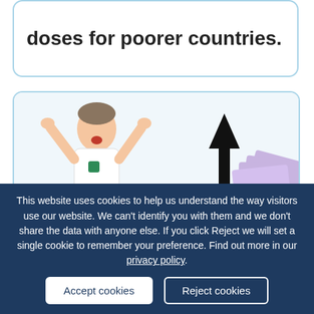doses for poorer countries.
[Figure (illustration): A man in a white polo shirt with hands raised in exasperation, next to small medicine bottles/jars with upward arrows, and a hand holding a fan of £20 banknotes with a large upward arrow — implying rising drug costs.]
This website uses cookies to help us understand the way visitors use our website. We can't identify you with them and we don't share the data with anyone else. If you click Reject we will set a single cookie to remember your preference. Find out more in our privacy policy.
Accept cookies
Reject cookies